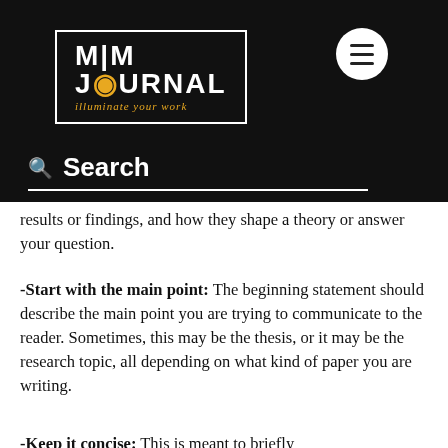[Figure (logo): MIM Journal logo with lightbulb on black background, tagline 'illuminate your work']
Search
results or findings, and how they shape a theory or answer your question.
-Start with the main point: The beginning statement should describe the main point you are trying to communicate to the reader. Sometimes, this may be the thesis, or it may be the research topic, all depending on what kind of paper you are writing.
-Keep it concise: This is meant to briefly